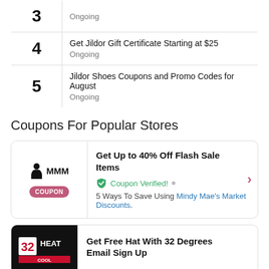| # | Description |
| --- | --- |
| 3 | Ongoing |
| 4 | Get Jildor Gift Certificate Starting at $25
Ongoing |
| 5 | Jildor Shoes Coupons and Promo Codes for August
Ongoing |
Coupons For Popular Stores
Get Up to 40% Off Flash Sale Items
Coupon Verified!
5 Ways To Save Using Mindy Mae's Market Discounts.
Get Free Hat With 32 Degrees Email Sign Up